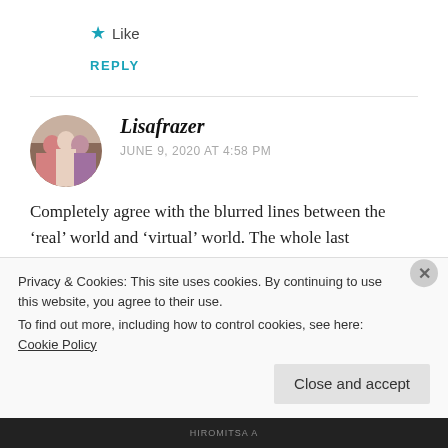★ Like
REPLY
Lisafrazer
JUNE 9, 2020 AT 4:58 PM
Completely agree with the blurred lines between the ‘real’ world and ‘virtual’ world. The whole last paragraph of your blog summed it all
Privacy & Cookies: This site uses cookies. By continuing to use this website, you agree to their use.
To find out more, including how to control cookies, see here: Cookie Policy
Close and accept